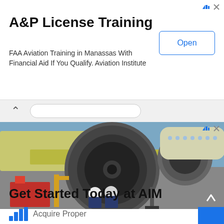[Figure (other): Advertisement banner: A&P License Training. FAA Aviation Training in Manassas With Financial Aid If You Qualify. Aviation Institute. Blue 'Open' button on the right.]
[Figure (photo): Photo of two aircraft mechanics in white hard hats and blue coveralls standing in front of a large commercial jet engine (turbofan) mounted under the wing of an airplane on a tarmac.]
Get Started Today at AIM
Acquire Proper